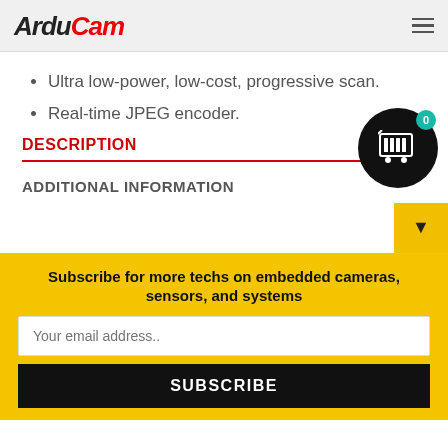ArduCam
Ultra low-power, low-cost, progressive scan.
Real-time JPEG encoder.
DESCRIPTION
ADDITIONAL INFORMATION
Subscribe for more techs on embedded cameras, sensors, and systems
Your email address..
SUBSCRIBE